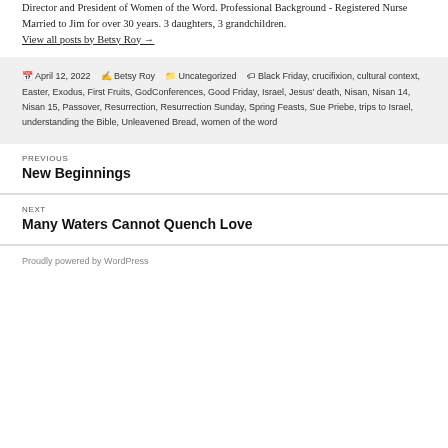Director and President of Women of the Word. Professional Background - Registered Nurse Married to Jim for over 30 years. 3 daughters, 3 grandchildren. View all posts by Betsy Roy →
Posted April 12, 2022  By Betsy Roy  Categories Uncategorized  Tags Black Friday, crucifixion, cultural context, Easter, Exodus, First Fruits, GodConferences, Good Friday, Israel, Jesus' death, Nisan, Nisan 14, Nisan 15, Passover, Resurrection, Resurrection Sunday, Spring Feasts, Sue Priebe, trips to Israel, understanding the Bible, Unleavened Bread, women of the word
PREVIOUS
New Beginnings
NEXT
Many Waters Cannot Quench Love
Proudly powered by WordPress